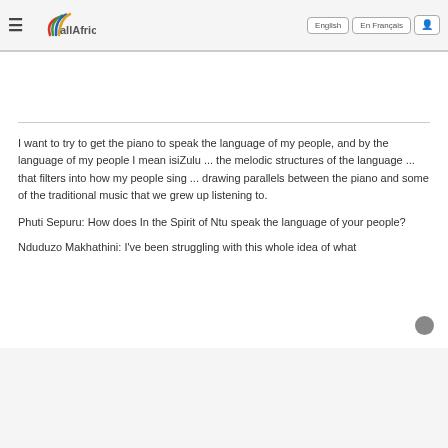allAfrica | English | En Français
I want to try to get the piano to speak the language of my people, and by the language of my people I mean isiZulu ... the melodic structures of the language ... that filters into how my people sing ... drawing parallels between the piano and some of the traditional music that we grew up listening to.
Phuti Sepuru: How does In the Spirit of Ntu speak the language of your people?
Nduduzo Makhathini: I've been struggling with this whole idea of what